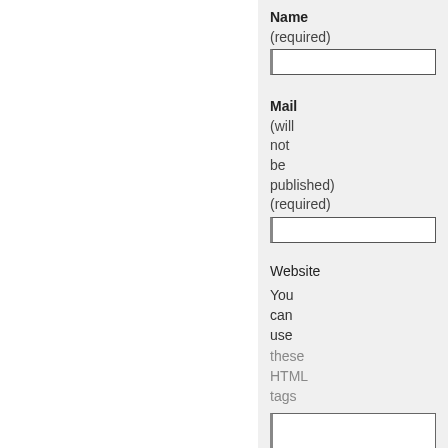Name (required)
Mail (will not be published) (required)
Website
You can use these HTML tags